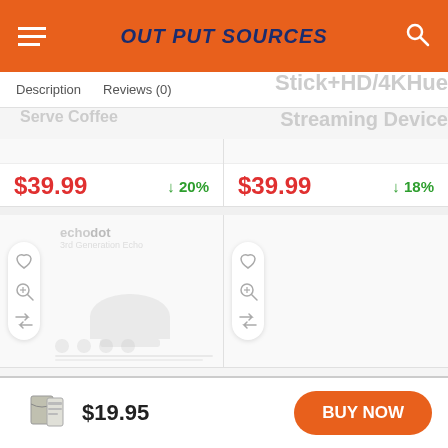OUT PUT SOURCES
Description   Reviews (0)
$39.99   ↓20%
$39.99   ↓18%
[Figure (photo): Product image area with action icons (heart, zoom, shuffle) on left side]
[Figure (photo): Product image area with action icons (heart, zoom, shuffle) on left side, empty]
$19.95
BUY NOW